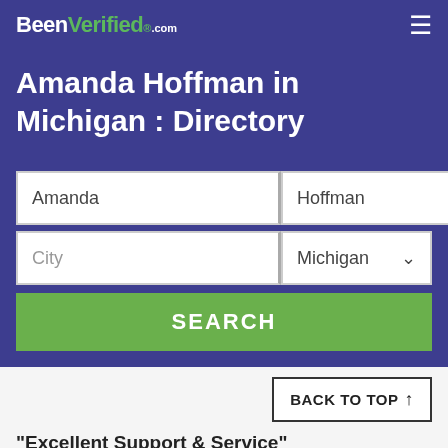BeenVerified.com
Amanda Hoffman in Michigan : Directory
Amanda | Hoffman
City | Michigan
SEARCH
BACK TO TOP ↑
"Excellent Support & Service"